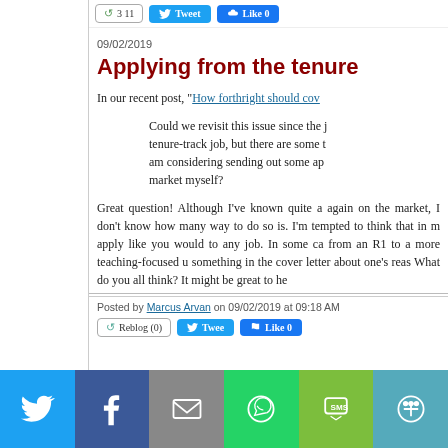Reblog (0) | Tweet | Like 0
09/02/2019
Applying from the tenure...
In our recent post, "How forthright should co...
Could we revisit this issue since the j... tenure-track job, but there are some t... am considering sending out some ap... market myself?
Great question! Although I've known quite a... again on the market, I don't know how many... way to do so is. I'm tempted to think that in m... apply like you would to any job. In some ca... from an R1 to a more teaching-focused u... something in the cover letter about one's reas... What do you all think? It might be great to he...
Posted by Marcus Arvan on 09/02/2019 at 09:18 AM
Reblog (0) | Tweet | Like 0